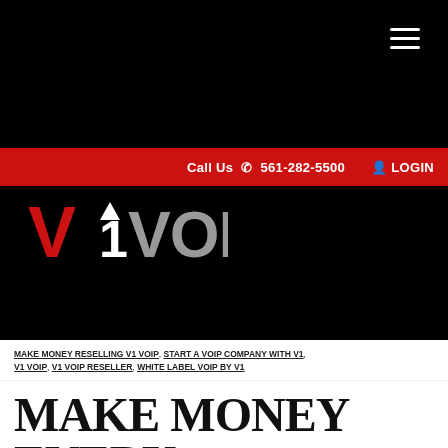[Figure (logo): V1 VOIP logo with red V1 and grey VOIP text on black background]
Call Us 561-282-5500  LOGIN
MAKE MONEY RESELLING V1 VOIP, START A VOIP COMPANY WITH V1, V1 VOIP, V1 VOIP RESELLER, WHITE LABEL VOIP BY V1
MAKE MONEY EVERY